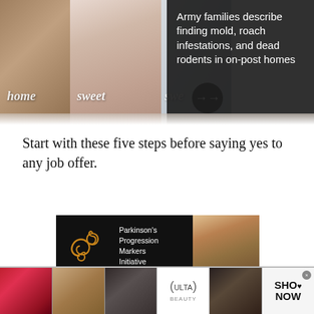[Figure (photo): Three-panel image collage showing home-themed photographs with text overlays 'home', 'sweet', and partial 'swe'. A dark overlay panel on the right shows a news headline. A black circular arrow button is visible.]
Army families describe finding mold, roach infestations, and dead rodents in on-post homes
Start with these five steps before saying yes to any job offer.
[Figure (photo): Advertisement banner for Parkinson's Progression Markers Initiative showing a golden swirl logo on black background with a close-up photo of a person's face on the right.]
[Figure (photo): Bottom advertisement strip showing beauty product images: red lips with brush, makeup brush, eye with makeup, Ulta Beauty logo, eye with dramatic makeup, and 'SHOP NOW' button.]